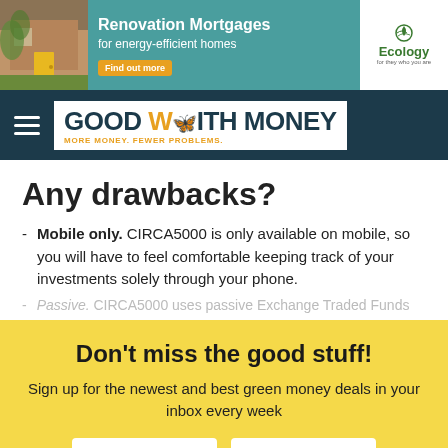[Figure (screenshot): Ad banner for Ecology Building Society Renovation Mortgages for energy-efficient homes, with teal background, house photo, Find out more button, and Ecology logo]
GOOD WITH MONEY — MORE MONEY. FEWER PROBLEMS.
Any drawbacks?
Mobile only. CIRCA5000 is only available on mobile, so you will have to feel comfortable keeping track of your investments solely through your phone.
Passive. CIRCA5000 uses passive Exchange Traded Funds
Don't miss the good stuff!
Sign up for the newest and best green money deals in your inbox every week
the companies and what they do, for those who want to